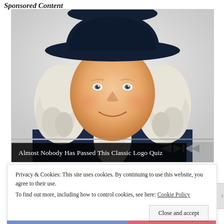Sponsored Content
[Figure (illustration): Illustrated portrait of the Quaker Oats man — a smiling, rosy-cheeked man with white curly hair wearing a dark navy colonial hat and coat with white cravat, against a light grey/white background. Video player controls (rewind, play, fast-forward) and a progress bar are overlaid at the bottom of the image.]
Almost Nobody Has Passed This Classic Logo Quiz
Privacy & Cookies: This site uses cookies. By continuing to use this website, you agree to their use.
To find out more, including how to control cookies, see here: Cookie Policy
Close and accept